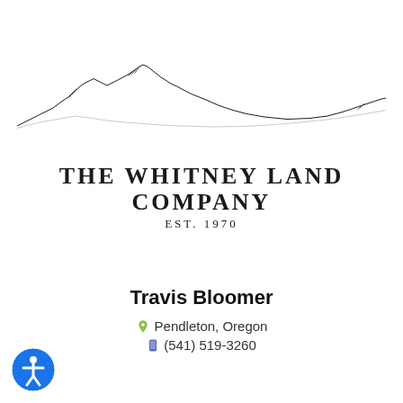[Figure (logo): The Whitney Land Company logo with mountain sketch illustration above company name text 'THE WHITNEY LAND COMPANY EST. 1970']
Travis Bloomer
Pendleton, Oregon
(541) 519-3260
[Figure (illustration): Blue circular accessibility icon with a person figure in white]